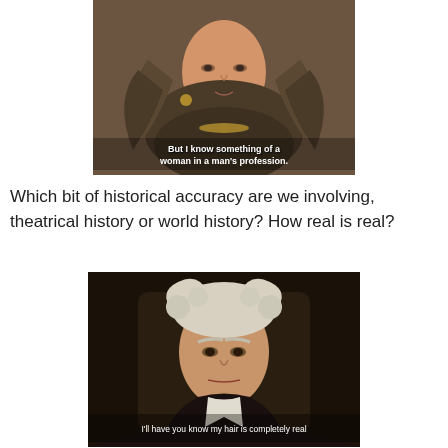[Figure (screenshot): Movie screenshot of an older woman in elaborate Elizabethan costume with feathered collar and jewels, with subtitle text 'But I know something of a woman in a man's profession.']
Which bit of historical accuracy are we involving, theatrical history or world history? How real is real?
[Figure (screenshot): Movie screenshot of an older man with white curly hair in dark clothing, with subtitle text 'I'll have you know my hair is completely real']